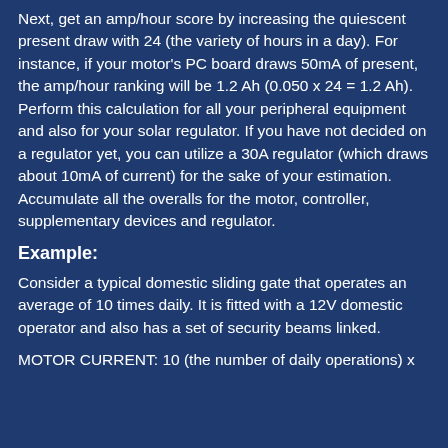Next, get an amp/hour score by increasing the quiescent present draw with 24 (the variety of hours in a day). For instance, if your motor's PC board draws 50mA of present, the amp/hour ranking will be 1.2 Ah (0.050 x 24 = 1.2 Ah). Perform this calculation for all your peripheral equipment and also for your solar regulator. If you have not decided on a regulator yet, you can utilize a 30A regulator (which draws about 10mA of current) for the sake of your estimation. Accumulate all the overalls for the motor, controller, supplementary devices and regulator.
Example:
Consider a typical domestic sliding gate that operates an average of 10 times daily. It is fitted with a 12V domestic operator and also has a set of security beams linked.
MOTOR CURRENT: 10 (the number of daily operations) x